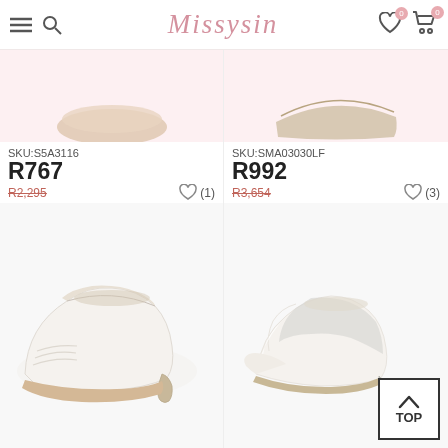Missysin
SKU:S5A3116
R767
R2,295
(1)
SKU:SMA03030LF
R992
R3,654
(3)
[Figure (photo): White satin low-heel court shoe with pleated toe detail]
[Figure (photo): White/ivory d'Orsay pointed-toe stiletto heel shoe]